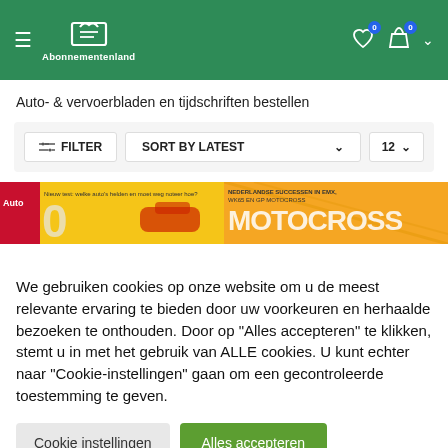[Figure (screenshot): Abonnementenland website header with green background, hamburger menu, logo, heart icon with badge 0, shopping bag icon with badge 0, and chevron dropdown]
Auto- & vervoerbladen en tijdschriften bestellen
[Figure (screenshot): Filter bar with FILTER button, SORT BY LATEST dropdown, and 12 count dropdown on light grey background]
[Figure (screenshot): Two magazine cover thumbnails partially visible — one with red Auto branding on left, one with yellow motocross magazine on right]
We gebruiken cookies op onze website om u de meest relevante ervaring te bieden door uw voorkeuren en herhaalde bezoeken te onthouden. Door op "Alles accepteren" te klikken, stemt u in met het gebruik van ALLE cookies. U kunt echter naar "Cookie-instellingen" gaan om een gecontroleerde toestemming te geven.
Cookie instellingen
Alles accepteren
🇬🇧 English (UK)